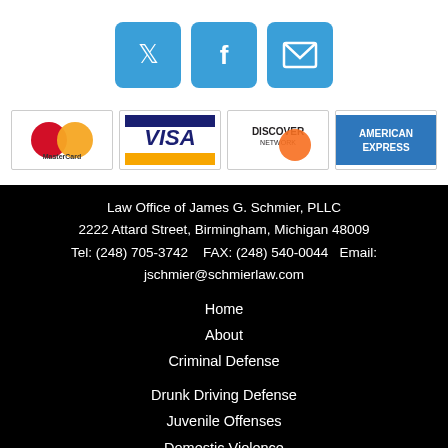[Figure (illustration): Three social media icons (Twitter bird, Facebook f, Email envelope) in blue rounded square buttons]
[Figure (illustration): Four payment card logos: MasterCard, VISA, Discover Network, American Express]
Law Office of James G. Schmier, PLLC
2222 Attard Street, Birmingham, Michigan 48009
Tel: (248) 705-3742     FAX: (248) 540-0044    Email: jschmier@schmierlaw.com
Home
About
Criminal Defense
Drunk Driving Defense
Juvenile Offenses
Domestic Violence